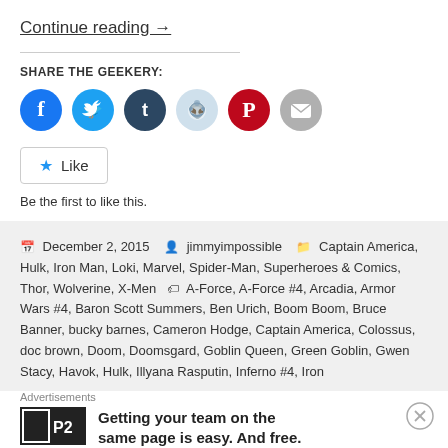Continue reading →
SHARE THE GEEKERY:
[Figure (other): Social share buttons: Facebook (blue), Twitter (light blue), Tumblr (dark blue), Reddit (light blue/gray), Pinterest (red), Email (gray)]
★ Like
Be the first to like this.
December 2, 2015  jimmyimpossible  Captain America, Hulk, Iron Man, Loki, Marvel, Spider-Man, Superheroes & Comics, Thor, Wolverine, X-Men  A-Force, A-Force #4, Arcadia, Armor Wars #4, Baron Scott Summers, Ben Urich, Boom Boom, Bruce Banner, bucky barnes, Cameron Hodge, Captain America, Colossus, doc brown, Doom, Doomsgard, Goblin Queen, Green Goblin, Gwen Stacy, Havok, Hulk, Illyana Rasputin, Inferno #4, Iron
Advertisements
Getting your team on the same page is easy. And free.